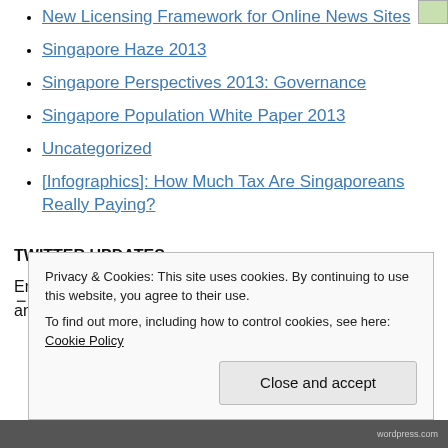New Licensing Framework for Online News Sites
Singapore Haze 2013
Singapore Perspectives 2013: Governance
Singapore Population White Paper 2013
Uncategorized
[Infographics]: How Much Tax Are Singaporeans Really Paying?
TWITTER UPDATES
Error: Twitter did not respond. Please wait a few minutes and refresh this page.
Privacy & Cookies: This site uses cookies. By continuing to use this website, you agree to their use.
To find out more, including how to control cookies, see here: Cookie Policy